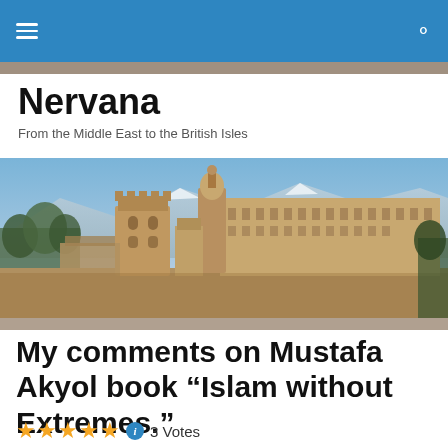Nervana — navigation bar
Nervana
From the Middle East to the British Isles
[Figure (photo): Panoramic photo of a historic castle or palace complex (likely the Alhambra in Granada) with towers and ornate buildings against a mountain backdrop and blue sky.]
My comments on Mustafa Akyol book “Islam without Extremes.”
3 Votes